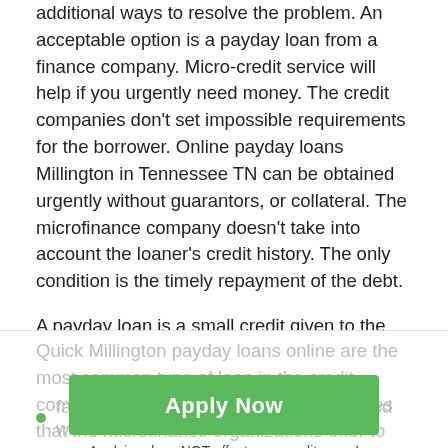additional ways to resolve the problem. An acceptable option is a payday loan from a finance company. Micro-credit service will help if you urgently need money. The credit companies don't set impossible requirements for the borrower. Online payday loans Millington in Tennessee TN can be obtained urgently without guarantors, or collateral. The microfinance company doesn't take into account the loaner's credit history. The only condition is the timely repayment of the debt.
A payday loan is a small credit given to the loaner for a short period (usually up to one month). The maximum amount you can borrow is $500. The loan is issued quickly; no credit check is required.
Quick Millington payday loans online are the most common type of loan in the credit companies. Regardless of the interest rates that the microfinance organizations offer to their clients...
[Figure (other): Green 'Apply Now' button with subtext 'Applying does NOT affect your credit score! No credit check to apply.']
fast online service, you can get approved within sever...